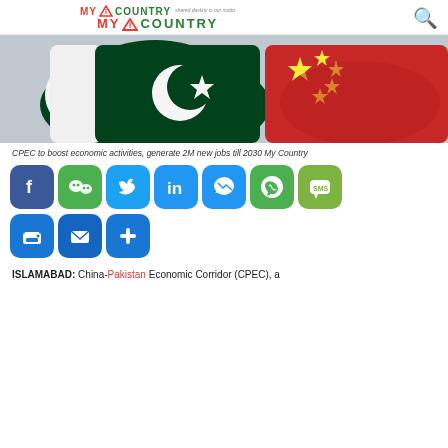MY COUNTRY — website header with logo and search icon
[Figure (photo): Two fists bumping — one painted with Pakistan flag (white and green with crescent), one painted with China flag (red with yellow stars)]
CPEC to boost economic activities, generate 2M new jobs till 2030 My Country
[Figure (infographic): Social sharing buttons row 1: Facebook, WeChat, Twitter, LinkedIn, Messenger, WhatsApp, SMS]
[Figure (infographic): Social sharing buttons row 2: Print, Email, More]
ISLAMABAD: China-Pakistan Economic Corridor (CPEC), a